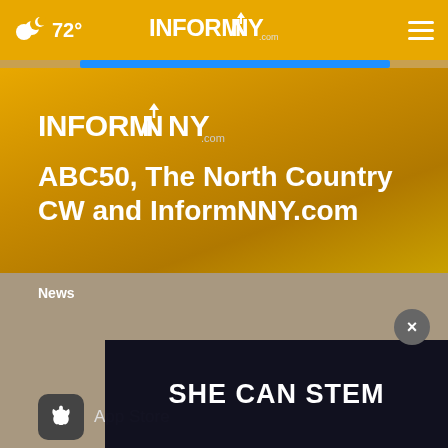72° | INFORMNNY.com
[Figure (screenshot): InformNNY.com logo inside main content area, white stylized text on golden background]
ABC50, The North Country CW and InformNNY.com
Follow Us
[Figure (infographic): Social media icons row: Facebook, Twitter, Instagram, Email]
News
App Store
SHE CAN STEM